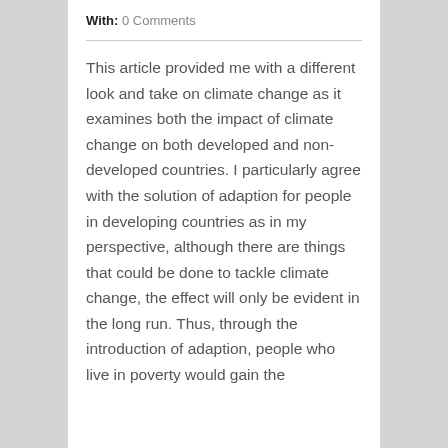With: 0 Comments
This article provided me with a different look and take on climate change as it examines both the impact of climate change on both developed and non-developed countries. I particularly agree with the solution of adaption for people in developing countries as in my perspective, although there are things that could be done to tackle climate change, the effect will only be evident in the long run. Thus, through the introduction of adaption, people who live in poverty would gain the